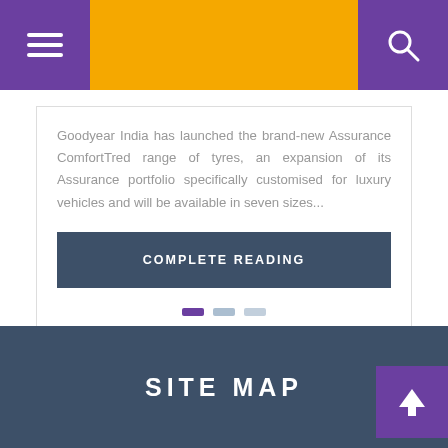Navigation header bar with menu and search icons
Goodyear India has launched the brand-new Assurance ComfortTred range of tyres, an expansion of its Assurance portfolio specifically customised for luxury vehicles and will be available in seven sizes...
COMPLETE READING
SITE MAP